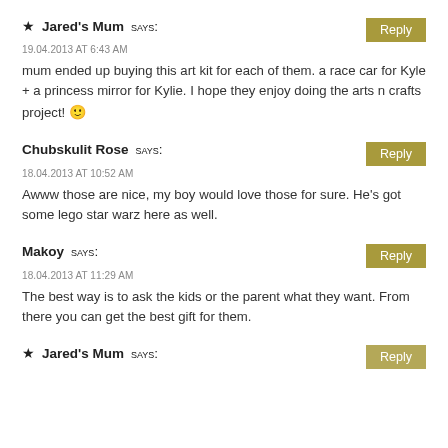★ Jared's Mum says:
19.04.2013 AT 6:43 AM
mum ended up buying this art kit for each of them. a race car for Kyle + a princess mirror for Kylie. I hope they enjoy doing the arts n crafts project! 🙂
Chubskulit Rose says:
18.04.2013 AT 10:52 AM
Awww those are nice, my boy would love those for sure. He's got some lego star warz here as well.
Makoy says:
18.04.2013 AT 11:29 AM
The best way is to ask the kids or the parent what they want. From there you can get the best gift for them.
★ Jared's Mum says: